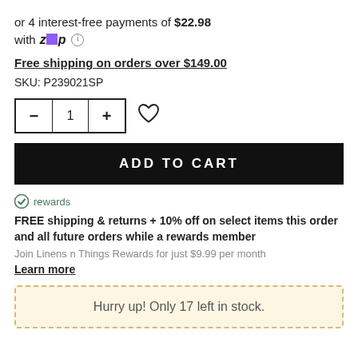or 4 interest-free payments of $22.98 with zip ℹ
Free shipping on orders over $149.00
SKU: P239021SP
[Figure (other): Quantity selector with minus and plus buttons showing quantity 1, and a heart/wishlist icon]
ADD TO CART
rewards
FREE shipping & returns + 10% off on select items this order and all future orders while a rewards member
Join Linens n Things Rewards for just $9.99 per month
Learn more
Hurry up! Only 17 left in stock.